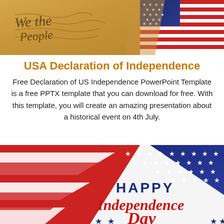[Figure (photo): Top banner image showing a parchment document with cursive text 'We the People' on the left and an American flag on the right]
USA Declaration of Independence
Free Declaration of US Independence PowerPoint Template is a free PPTX template that you can download for free. With this template, you will create an amazing presentation about a historical event on 4th July.
[Figure (photo): Lower image showing an American flag waving with red, white and blue colors, stars visible, and overlay text reading 'HAPPY Independence Day' with decorative stars]